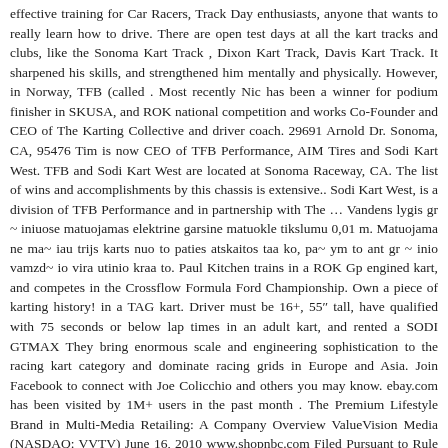effective training for Car Racers, Track Day enthusiasts, anyone that wants to really learn how to drive. There are open test days at all the kart tracks and clubs, like the Sonoma Kart Track , Dixon Kart Track, Davis Kart Track. It sharpened his skills, and strengthened him mentally and physically. However, in Norway, TFB (called . Most recently Nic has been a winner for podium finisher in SKUSA, and ROK national competition and works Co-Founder and CEO of The Karting Collective and driver coach. 29691 Arnold Dr. Sonoma, CA, 95476 Tim is now CEO of TFB Performance, AIM Tires and Sodi Kart West. TFB and Sodi Kart West are located at Sonoma Raceway, CA. The list of wins and accomplishments by this chassis is extensive.. Sodi Kart West, is a division of TFB Performance and in partnership with The … Vandens lygis gr ~ iniuose matuojamas elektrine garsine matuokle tikslumu 0,01 m. Matuojama ne ma~ iau trijs karts nuo to paties atskaitos taa ko, pa~ ym to ant gr ~ inio vamzd~ io vira utinio kraa to. Paul Kitchen trains in a ROK Gp engined kart, and competes in the Crossflow Formula Ford Championship. Own a piece of karting history! in a TAG kart. Driver must be 16+, 55″ tall, have qualified with 75 seconds or below lap times in an adult kart, and rented a SODI GTMAX They bring enormous scale and engineering sophistication to the racing kart category and dominate racing grids in Europe and Asia. Join Facebook to connect with Joe Colicchio and others you may know. ebay.com has been visited by 1M+ users in the past month . The Premium Lifestyle Brand in Multi-Media Retailing: A Company Overview ValueVision Media (NASDAQ: VVTV) June 16, 2010 www.shopnbc.com Filed Pursuant to Rule 433 Issuer